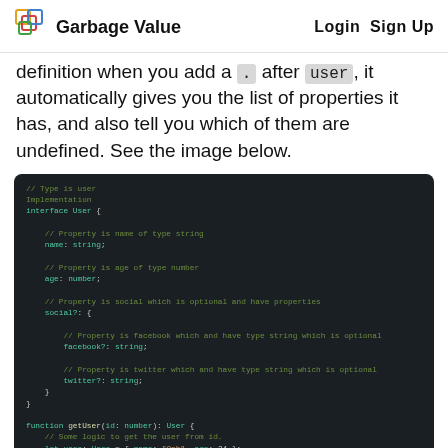Garbage Value  Login  Sign Up
definition when you add a . after user , it automatically gives you the list of properties it has, and also tell you which of them are undefined. See the image below.
[Figure (screenshot): Code editor screenshot showing a TypeScript interface definition for 'User' with properties name (string), age (number), and optional social object with optional facebook? and twitter? string properties. Below is a getUser function returning a User type.]